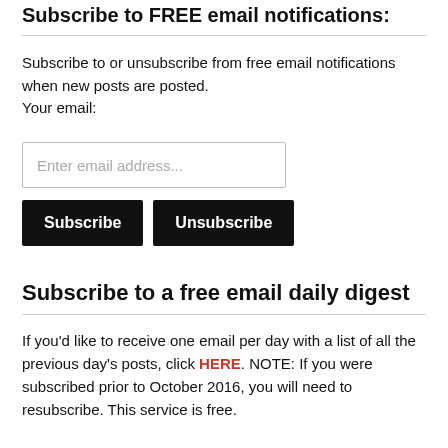Subscribe to FREE email notifications:
Subscribe to or unsubscribe from free email notifications when new posts are posted.
Your email:
[Figure (other): Email input field with placeholder text 'Enter email address...']
[Figure (other): Two buttons side-by-side: 'Subscribe' and 'Unsubscribe', both black with white text]
Subscribe to a free email daily digest
If you'd like to receive one email per day with a list of all the previous day's posts, click HERE. NOTE: If you were subscribed prior to October 2016, you will need to resubscribe. This service is free.